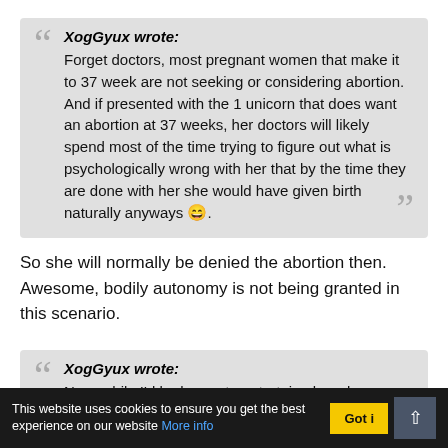XogGyux wrote: Forget doctors, most pregnant women that make it to 37 week are not seeking or considering abortion. And if presented with the 1 unicorn that does want an abortion at 37 weeks, her doctors will likely spend most of the time trying to figure out what is psychologically wrong with her that by the time they are done with her she would have given birth naturally anyways 😄.
So she will normally be denied the abortion then. Awesome, bodily autonomy is not being granted in this scenario.
XogGyux wrote: Now, while I'd be happy to entertain absurd
This website uses cookies to ensure you get the best experience on our website More info